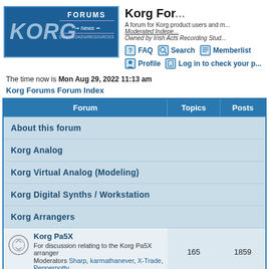[Figure (logo): Korg Forums logo with blue background, stylized KORG text and FORUMS/News/Downloads badge]
Korg Forums
A forum for Korg product users and m...
Moderated Indepe...
Owned by Irish Acts Recording Stud...
FAQ  Search  Memberlist  Profile  Log in to check your p...
The time now is Mon Aug 29, 2022 11:13 am
Korg Forums Forum Index
| Forum | Topics | Posts |
| --- | --- | --- |
| About this forum |  |  |
| Korg Analog |  |  |
| Korg Virtual Analog (Modeling) |  |  |
| Korg Digital Synths / Workstation |  |  |
| Korg Arrangers |  |  |
| Korg Pa5X
For discussion relating to the Korg Pa5X arranger
Moderators Sharp, karmathanever, X-Trade, Pepperpotty | 165 | 1859 |
| Korg Pa4X
For discussion relating to the Korg PA4X arranger | 3658 | 29229 |